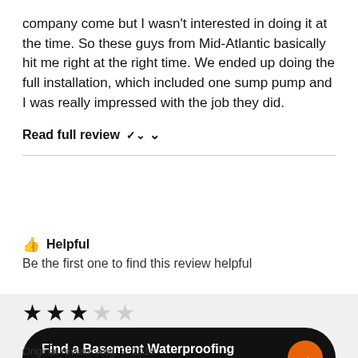company come but I wasn't interested in doing it at the time. So these guys from Mid-Atlantic basically hit me right at the right time. We ended up doing the full installation, which included one sump pump and I was really impressed with the job they did.
Read full review ∨
👍 Helpful
Be the first one to find this review helpful
[Figure (other): 3 out of 5 stars rating: 3 filled stars and 2 empty stars]
Find a Basement Waterproofing partner →
Original review: Aug. 9, 2018